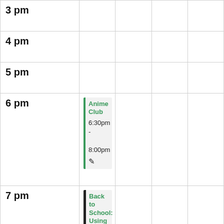| Time | Col1 | Col2 | Col3 | Col4 |
| --- | --- | --- | --- | --- |
| 3 pm |  |  |  |  |
| 4 pm |  |  |  |  |
| 5 pm |  |  |  |  |
| 6 pm | Anime Club
6:30pm - 8:00pm |  |  |  |
| 7 pm | Back to School: Using School Records in Your Genealogy
7:00pm - 8:30pm |  |  |  |